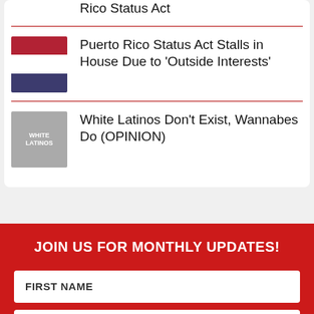Rico Status Act
[Figure (photo): Thumbnail image with flag background for Puerto Rico Status Act article]
Puerto Rico Status Act Stalls in House Due to 'Outside Interests'
[Figure (illustration): Gray thumbnail image with text overlay reading WHITE LATINOS for opinion article]
White Latinos Don't Exist, Wannabes Do (OPINION)
JOIN US FOR MONTHLY UPDATES!
FIRST NAME
LAST NAME